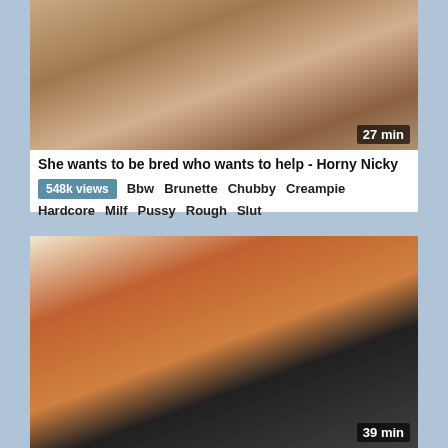[Figure (photo): Video thumbnail showing two people, duration badge '27 min' in bottom right]
She wants to be bred who wants to help - Horny Nicky
548k views  Bbw  Brunette  Chubby  Creampie  Hardcore  Milf  Pussy  Rough  Slut
[Figure (photo): Video thumbnail showing a red-haired tattooed woman in a black dress, duration badge '39 min' in bottom right]